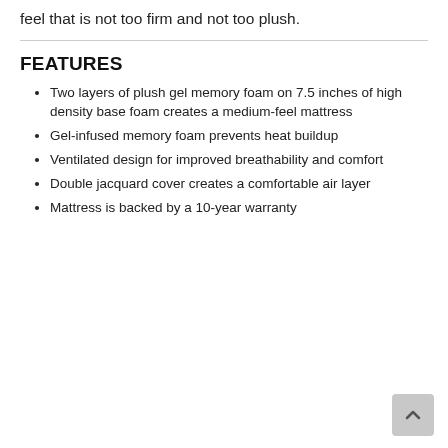feel that is not too firm and not too plush.
FEATURES
Two layers of plush gel memory foam on 7.5 inches of high density base foam creates a medium-feel mattress
Gel-infused memory foam prevents heat buildup
Ventilated design for improved breathability and comfort
Double jacquard cover creates a comfortable air layer
Mattress is backed by a 10-year warranty